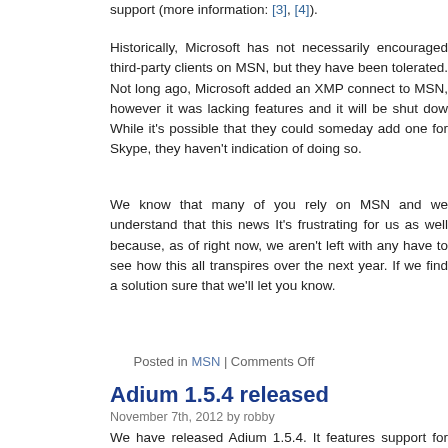support (more information: [3], [4]).
Historically, Microsoft has not necessarily encouraged third-party clients on MSN, but they have been tolerated. Not long ago, Microsoft added an XMP connect to MSN, however it was lacking features and it will be shut dow While it's possible that they could someday add one for Skype, they haven't indication of doing so.
We know that many of you rely on MSN and we understand that this news It's frustrating for us as well because, as of right now, we aren't left with any have to see how this all transpires over the next year. If we find a solution sure that we'll let you know.
Posted in MSN | Comments Off
Adium 1.5.4 released
November 7th, 2012 by robby
We have released Adium 1.5.4. It features support for Mountain Lion's Notifi among other changes (full list).
Notification Center support
Adium 1.5.4 now supports Mountain Lion's Notification Center. By default are shown for a couple of events. You can add and remove notification "Events" preferences (see our documentation on and for details.)
People have asked us how Adium decides between Notification Center and